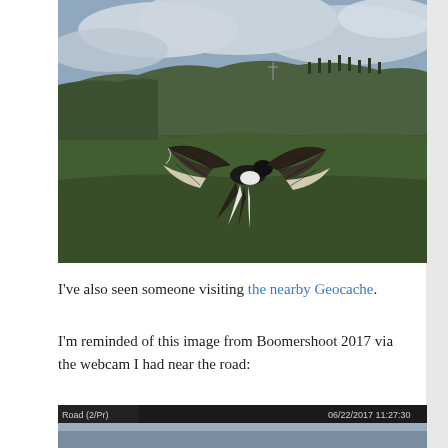[Figure (photo): A bird with wings spread wide photographed mid-flight against a green grassy hillside landscape with cloudy sky and wooded hills in the background.]
I've also seen someone visiting the nearby Geocache.
I'm reminded of this image from Boomershoot 2017 via the webcam I had near the road:
[Figure (screenshot): Webcam screenshot showing timestamp 06/22/2017 11:27:30 and camera label, with a grayish-blue sky scene visible.]